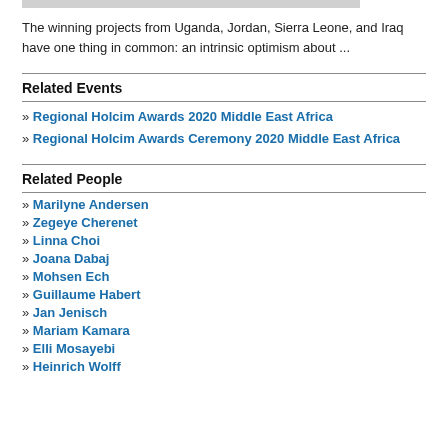[Figure (photo): Partial image placeholder at top of page]
The winning projects from Uganda, Jordan, Sierra Leone, and Iraq have one thing in common: an intrinsic optimism about ...
Related Events
» Regional Holcim Awards 2020 Middle East Africa
» Regional Holcim Awards Ceremony 2020 Middle East Africa
Related People
» Marilyne Andersen
» Zegeye Cherenet
» Linna Choi
» Joana Dabaj
» Mohsen Ech
» Guillaume Habert
» Jan Jenisch
» Mariam Kamara
» Elli Mosayebi
» Heinrich Wolff